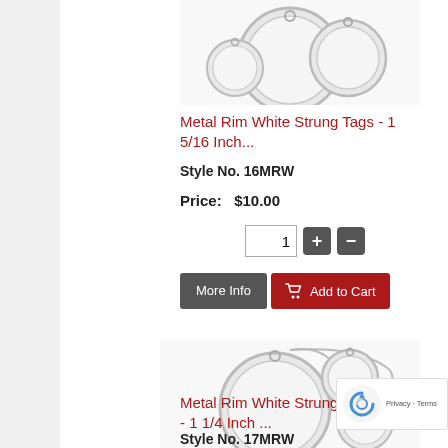[Figure (photo): Metal rim white strung tags product photo showing multiple circular tags with wire strings, sizes varying]
Metal Rim White Strung Tags - 1 5/16 Inch...
Style No. 16MRW
Price: $10.00
[Figure (other): Quantity selector with input box showing 1, plus and minus buttons]
[Figure (other): More Info button (dark grey) and Add to Cart button (dark red with cart icon)]
[Figure (photo): Metal rim white strung tags product photo showing multiple circular tags with wire strings for second product]
Metal Rim White Strung Tags - 1 1/4 Inch ...
Style No. 17MRW
Price: $12.00